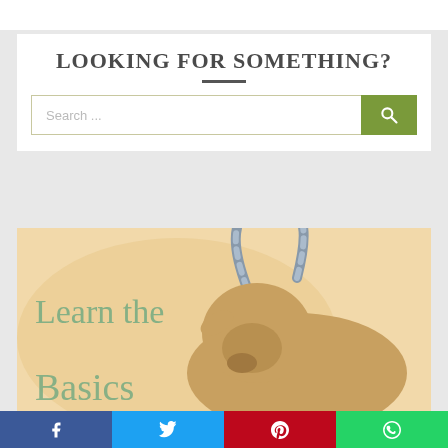LOOKING FOR SOMETHING?
[Figure (screenshot): Search bar with text 'Search ...' and a green search button with magnifying glass icon]
[Figure (photo): Photo of an antelope with large horns on a warm beige background, with overlay text reading 'Learn the Basics' in muted green serif font]
Social share bar with Facebook, Twitter, Pinterest, and WhatsApp buttons